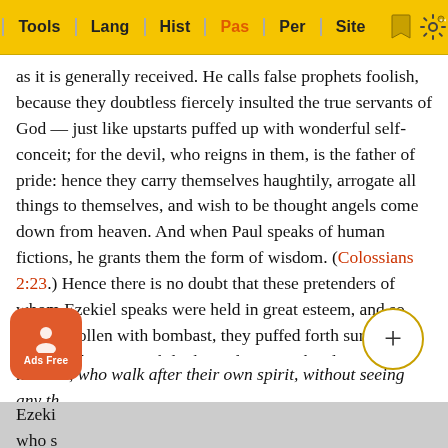Tools | Lang | Hist | Pas | Per | Site
as it is generally received. He calls false prophets foolish, because they doubtless fiercely insulted the true servants of God — just like upstarts puffed up with wonderful self-conceit; for the devil, who reigns in them, is the father of pride: hence they carry themselves haughtily, arrogate all things to themselves, and wish to be thought angels come down from heaven. And when Paul speaks of human fictions, he grants them the form of wisdom. (Colossians 2:23.) Hence there is no doubt that these pretenders of whom Ezekiel speaks were held in great esteem, and so, when swollen with bombast, they puffed forth surprising wisdom; but meanwhile the Holy Spirit shortly pronounces them fools: for whatever pleases the world under the mask of wisdom, we know to be mere folly before God.
he adds, who walk after their own spirit, without seeing any th[ing]... Ezeki[el]... it who s[ays]...